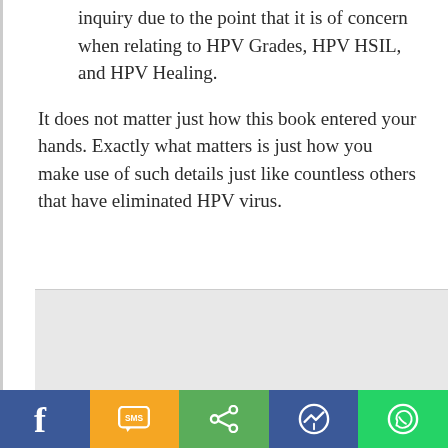5. HPV Grade 1 is a normally noted inquiry due to the point that it is of concern when relating to HPV Grades, HPV HSIL, and HPV Healing.
It does not matter just how this book entered your hands. Exactly what matters is just how you make use of such details just like countless others that have eliminated HPV virus.
[Figure (other): Gray advertisement/content placeholder box]
[Figure (infographic): Social media sharing bar with Facebook (blue), SMS (yellow/orange), Share (green), Messenger (blue), WhatsApp (green) buttons]